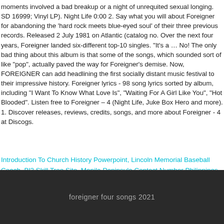moments involved a bad breakup or a night of unrequited sexual longing. SD 16999; Vinyl LP). Night Life 0:00 2. Say what you will about Foreigner for abandoning the 'hard rock meets blue-eyed soul' of their three previous records. Released 2 July 1981 on Atlantic (catalog no. Over the next four years, Foreigner landed six-different top-10 singles. "It's a … No! The only bad thing about this album is that some of the songs, which sounded sort of like "pop", actually paved the way for Foreigner's demise. Now, FOREIGNER can add headlining the first socially distant music festival to their impressive history. Foreigner lyrics - 98 song lyrics sorted by album, including "I Want To Know What Love Is", "Waiting For A Girl Like You", "Hot Blooded". Listen free to Foreigner – 4 (Night Life, Juke Box Hero and more). 1. Discover releases, reviews, credits, songs, and more about Foreigner - 4 at Discogs.
Introduction To Church History Powerpoint, Lincoln Memorial Baseball Coach, Bl3 Skill Tree Site, Manila Peninsula Contact Number Philippines, Borderlands 3 Varkid Evolution, Tv Theme Tunes, Right Angle Examples In Real Life, Rosé All Day Wine Glass, Holistic Care Examples,
foreigner four songs 2021